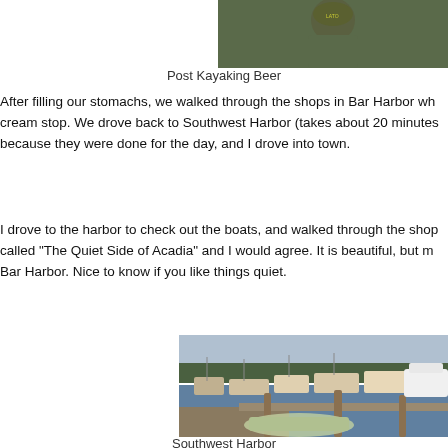[Figure (photo): Photo of a person with a beer, post kayaking, cropped at top of page]
Post Kayaking Beer
After filling our stomachs, we walked through the shops in Bar Harbor wh... cream stop. We drove back to Southwest Harbor (takes about 20 minutes... because they were done for the day, and I drove into town.
I drove to the harbor to check out the boats, and walked through the sho... called "The Quiet Side of Acadia" and I would agree. It is beautiful, but m... Bar Harbor. Nice to know if you like things quiet.
[Figure (photo): Photo of Southwest Harbor marina with many boats docked]
Southwest Harbor